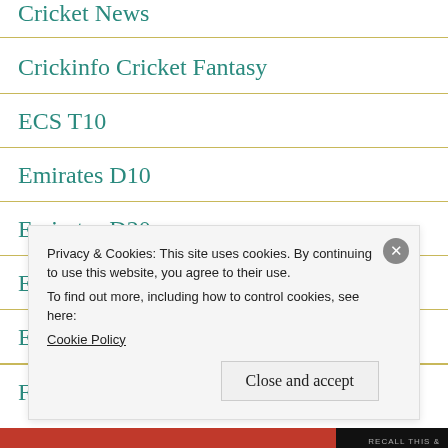Cricket News
Crickinfo Cricket Fantasy
ECS T10
Emirates D10
Emirates D20
Euro Cup
Euro League
Football F...
Privacy & Cookies: This site uses cookies. By continuing to use this website, you agree to their use. To find out more, including how to control cookies, see here: Cookie Policy
Close and accept